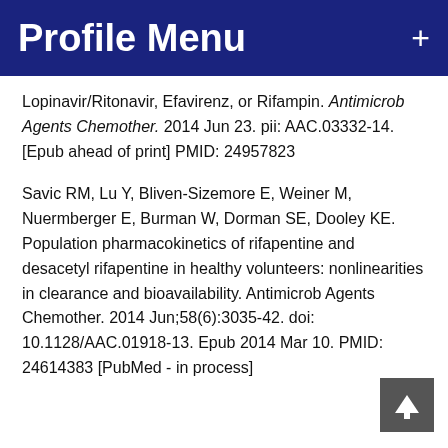Profile Menu
Lopinavir/Ritonavir, Efavirenz, or Rifampin. Antimicrob Agents Chemother. 2014 Jun 23. pii: AAC.03332-14. [Epub ahead of print] PMID: 24957823
Savic RM, Lu Y, Bliven-Sizemore E, Weiner M, Nuermberger E, Burman W, Dorman SE, Dooley KE. Population pharmacokinetics of rifapentine and desacetyl rifapentine in healthy volunteers: nonlinearities in clearance and bioavailability. Antimicrob Agents Chemother. 2014 Jun;58(6):3035-42. doi: 10.1128/AAC.01918-13. Epub 2014 Mar 10. PMID: 24614383 [PubMed - in process]